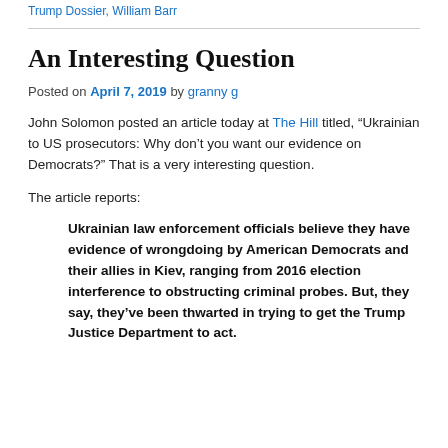Trump Dossier, William Barr
An Interesting Question
Posted on April 7, 2019 by granny g
John Solomon posted an article today at The Hill titled, “Ukrainian to US prosecutors: Why don’t you want our evidence on Democrats?” That is a very interesting question.
The article reports:
Ukrainian law enforcement officials believe they have evidence of wrongdoing by American Democrats and their allies in Kiev, ranging from 2016 election interference to obstructing criminal probes. But, they say, they’ve been thwarted in trying to get the Trump Justice Department to act.